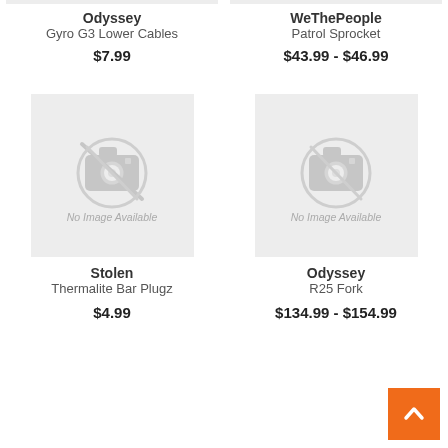[Figure (other): No Image Available placeholder for Odyssey Gyro G3 Lower Cables]
Odyssey
Gyro G3 Lower Cables
$7.99
[Figure (other): No Image Available placeholder for WeThePeople Patrol Sprocket]
WeThePeople
Patrol Sprocket
$43.99 - $46.99
[Figure (other): No Image Available placeholder for Stolen Thermalite Bar Plugz]
Stolen
Thermalite Bar Plugz
$4.99
[Figure (other): No Image Available placeholder for Odyssey R25 Fork]
Odyssey
R25 Fork
$134.99 - $154.99